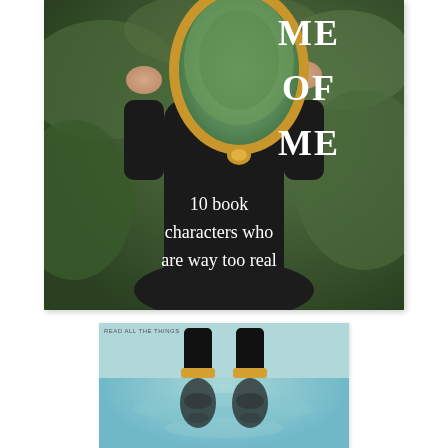[Figure (photo): A person in a black dress holding a gold ornate oval mirror in front of their face, standing outdoors among green foliage. Text overlaid reads: ME OF ME, 10 book characters who are way too real.]
[Figure (photo): Close-up of feet wearing black and gold shoes/boots standing on wet pavement, with reflection visible in the water. Small text at top reads: READ ALL THE THINGS.]